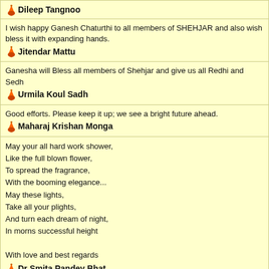Dileep Tangnoo
I wish happy Ganesh Chaturthi to all members of SHEHJAR and also wish bless it with expanding hands.
Jitendar Mattu
Ganesha will Bless all members of Shehjar and give us all Redhi and Sedh
Urmila Koul Sadh
Good efforts. Please keep it up; we see a bright future ahead.
Maharaj Krishan Monga
May your all hard work shower,
Like the full blown flower,
To spread the fragrance,
With the booming elegance...
May these lights,
Take all your plights,
And turn each dream of night,
In morns successful height

With love and best regards
Dr Smita Pandey Bhat
Copyrights © 2007 Shehjar online and KashmirGroup.com. Any content, including but not limited photographs, video, graphics or other material contained may not be modified, co posted, or distributed in any form or context without written permission. Terms & The views expressed are solely the author's and not necessarily the views of She authors are provided "AS IS", with no warranties, and confer no rights. The mate information only and should not, in any respect, be relied on as professional advi kashmirgroup.com represent or endorse the accuracy or reliability of any advice, opinion, statem displayed, uploaded, or distributed through the Service by any user, information provider or